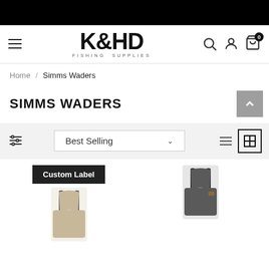K&HD FISHING SUPPLIES
Home / Simms Waders
SIMMS WADERS
Best Selling
[Figure (screenshot): Two product images of Simms waders with a 'Custom Label' badge button above the left product]
Custom Label